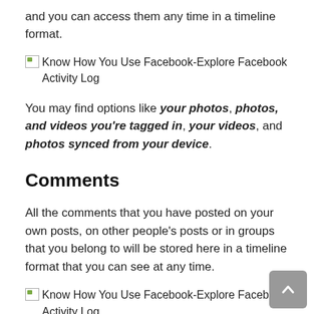and you can access them any time in a timeline format.
[Figure (illustration): Broken image placeholder with alt text: Know How You Use Facebook-Explore Facebook Activity Log]
You may find options like your photos, photos, and videos you're tagged in, your videos, and photos synced from your device.
Comments
All the comments that you have posted on your own posts, on other people's posts or in groups that you belong to will be stored here in a timeline format that you can see at any time.
[Figure (illustration): Broken image placeholder with alt text: Know How You Use Facebook-Explore Facebook Activity Log]